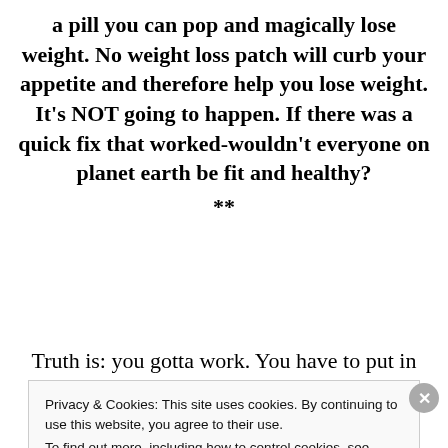a pill you can pop and magically lose weight. No weight loss patch will curb your appetite and therefore help you lose weight. It's NOT going to happen. If there was a quick fix that worked-wouldn't everyone on planet earth be fit and healthy?
**
Truth is: you gotta work. You have to put in
Privacy & Cookies: This site uses cookies. By continuing to use this website, you agree to their use.
To find out more, including how to control cookies, see here: Cookie Policy
Close and accept